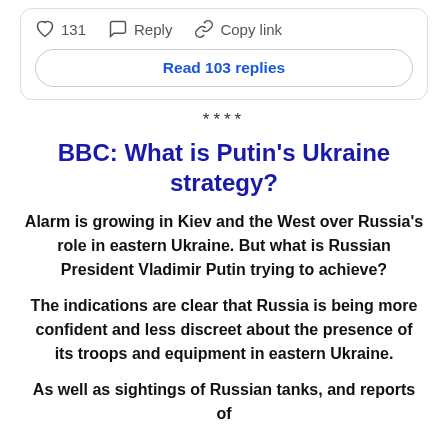[Figure (screenshot): Social media comment action bar showing heart icon with 131 likes, Reply button, and Copy link button, plus a 'Read 103 replies' button]
****
BBC: What is Putin's Ukraine strategy?
Alarm is growing in Kiev and the West over Russia's role in eastern Ukraine. But what is Russian President Vladimir Putin trying to achieve?
The indications are clear that Russia is being more confident and less discreet about the presence of its troops and equipment in eastern Ukraine.
As well as sightings of Russian tanks, and reports of